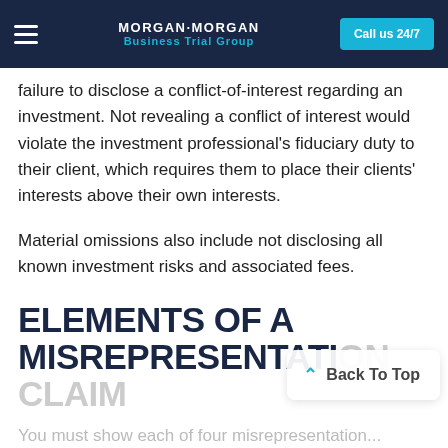MORGAN·MORGAN Business Trial Group | Call us 24/7
failure to disclose a conflict-of-interest regarding an investment. Not revealing a conflict of interest would violate the investment professional's fiduciary duty to their client, which requires them to place their clients' interests above their own interests.
Material omissions also include not disclosing all known investment risks and associated fees.
ELEMENTS OF A MISREPRESENTATION CLAIM
You must show each of four misrepresentation...